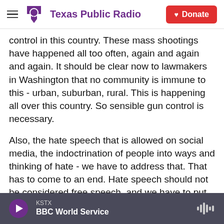Texas Public Radio | Donate
control in this country. These mass shootings have happened all too often, again and again and again. It should be clear now to lawmakers in Washington that no community is immune to this - urban, suburban, rural. This is happening all over this country. So sensible gun control is necessary.
Also, the hate speech that is allowed on social media, the indoctrination of people into ways and thinking of hate - we have to address that. That has to come to an end. Hate speech should not be considered free speech, and we have to put limits on the ability for people to spread hate through the
KSTX | BBC World Service